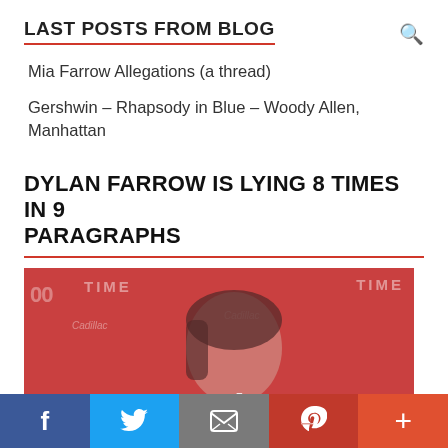LAST POSTS FROM BLOG
Mia Farrow Allegations (a thread)
Gershwin – Rhapsody in Blue – Woody Allen, Manhattan
DYLAN FARROW IS LYING 8 TIMES IN 9 PARAGRAPHS
[Figure (photo): Photo of Dylan Farrow at a TIME 100 event on a red background with text overlay '9 paragraphs']